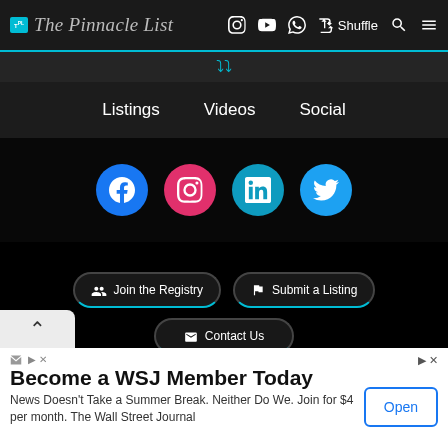The Pinnacle List — Navigation bar with logo and icons: Instagram, YouTube, WhatsApp, Shuffle, Search, Menu
[Figure (screenshot): Website navigation bar with The Pinnacle List logo and social/nav icons]
Listings   Videos   Social
[Figure (infographic): Social media circular icon buttons: Facebook (blue), Instagram (pink), LinkedIn (teal), Twitter (light blue)]
Join the Registry   Submit a Listing   Contact Us
Become a WSJ Member Today
News Doesn't Take a Summer Break. Neither Do We. Join for $4 per month. The Wall Street Journal
Open